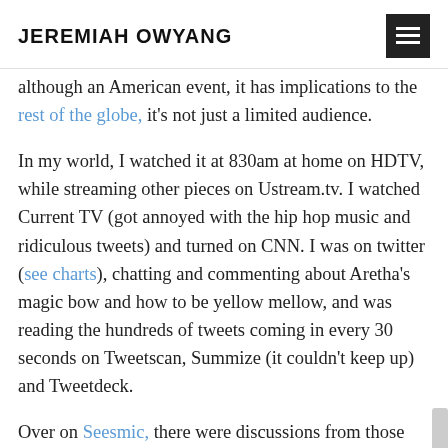JEREMIAH OWYANG
although an American event, it has implications to the rest of the globe, it's not just a limited audience.
In my world, I watched it at 830am at home on HDTV, while streaming other pieces on Ustream.tv. I watched Current TV (got annoyed with the hip hop music and ridiculous tweets) and turned on CNN. I was on twitter (see charts), chatting and commenting about Aretha's magic bow and how to be yellow mellow, and was reading the hundreds of tweets coming in every 30 seconds on Tweetscan, Summize (it couldn't keep up) and Tweetdeck.
Over on Seesmic, there were discussions from those who were watching –and it cascaded to many other